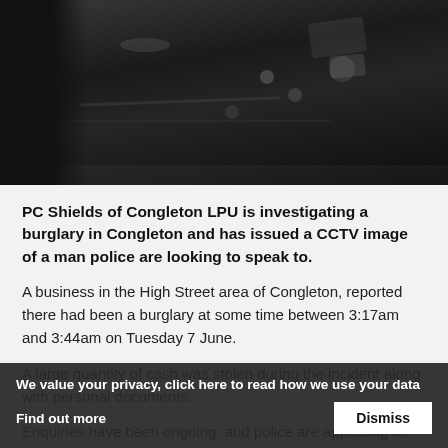[Figure (photo): Dark CCTV or crime scene photograph showing a dark surface with water droplets and shadowy objects, taken at night or in low-light conditions.]
PC Shields of Congleton LPU is investigating a burglary in Congleton and has issued a CCTV image of a man police are looking to speak to.
A business in the High Street area of Congleton, reported there had been a burglary at some time between 3:17am and 3:44am on Tuesday 7 June.
A large quantity of cash was stolen during the incident along with personal documents.
Enquiries have been ongoing, and police are appealing for anyone who recognises the man has information or CCTV from the incident to get in touch.
We value your privacy, click here to read how we use your data Find out more  Dismiss